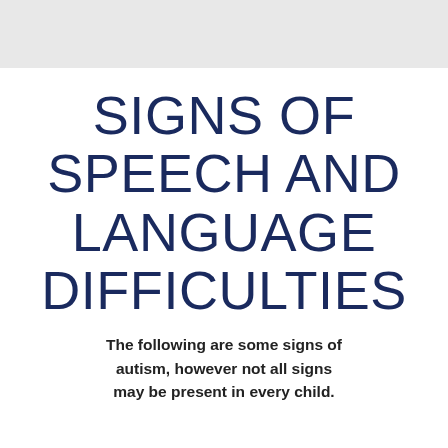SIGNS OF SPEECH AND LANGUAGE DIFFICULTIES
The following are some signs of autism, however not all signs may be present in every child.